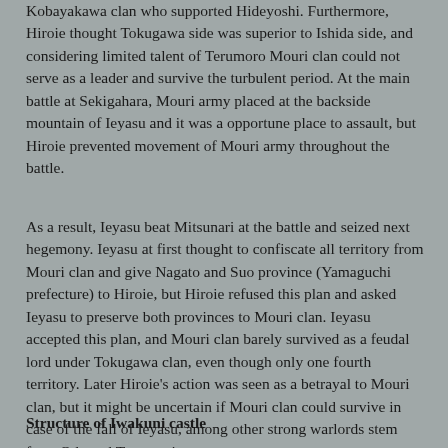Kobayakawa clan who supported Hideyoshi. Furthermore, Hiroie thought Tokugawa side was superior to Ishida side, and considering limited talent of Terumoro Mouri clan could not serve as a leader and survive the turbulent period. At the main battle at Sekigahara, Mouri army placed at the backside mountain of Ieyasu and it was a opportune place to assault, but Hiroie prevented movement of Mouri army throughout the battle.
As a result, Ieyasu beat Mitsunari at the battle and seized next hegemony. Ieyasu at first thought to confiscate all territory from Mouri clan and give Nagato and Suo province (Yamaguchi prefecture) to Hiroie, but Hiroie refused this plan and asked Ieyasu to preserve both provinces to Mouri clan. Ieyasu accepted this plan, and Mouri clan barely survived as a feudal lord under Tokugawa clan, even though only one fourth territory. Later Hiroie's action was seen as a betrayal to Mouri clan, but it might be uncertain if Mouri clan could survive in case of the fall of Ieyasu, among other strong warlords stem from Oda and Toyotomi government.
Structure of Iwakuni castle